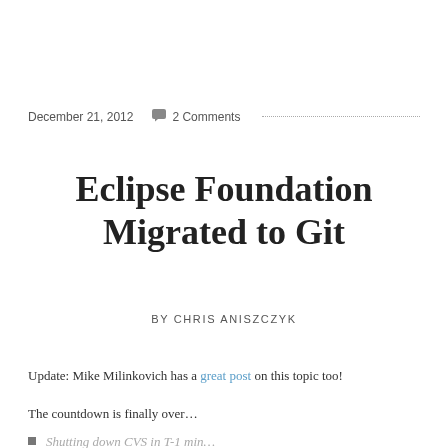December 21, 2012   2 Comments
Eclipse Foundation Migrated to Git
BY CHRIS ANISZCZYK
Update: Mike Milinkovich has a great post on this topic too!
The countdown is finally over…
Shutting down CVS in T-1 min…